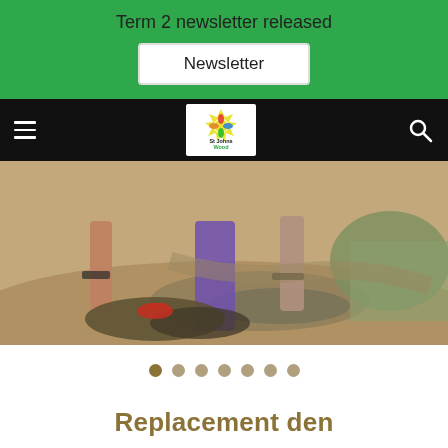Term 2 newsletter released
Newsletter
[Figure (screenshot): Navigation bar with hamburger menu, St Johns Wood school logo (colorful star/cross emblem), and search icon on black background]
[Figure (photo): Outdoor muddy scene showing legs of people standing near muddy water puddle, purple object visible, red item on ground, grass in background]
• • • • • • •  (slideshow dots, first dot active)
Replacement den